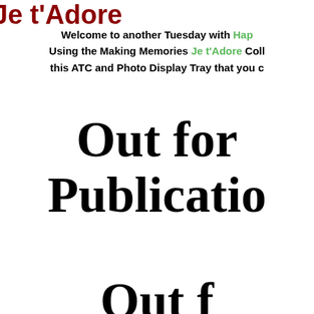Je t'Adore
Welcome to another Tuesday with Hap... Using the Making Memories Je t'Adore Coll... this ATC and Photo Display Tray that you c...
Out for Publication
Out f...